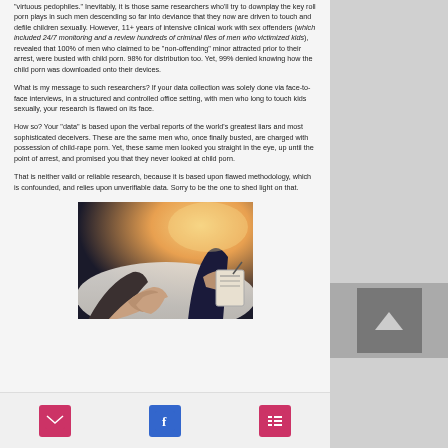"virtuous pedophiles." Inevitably, it is those same researchers who'll try to downplay the key roll porn plays in such men descending so far into deviance that they now are driven to touch and defile children sexually. However, 11+ years of intensive clinical work with sex offenders (which included 24/7 monitoring and a review hundreds of criminal files of men who victimized kids), revealed that 100% of men who claimed to be "non-offending" minor attracted prior to their arrest, were busted with child porn. 98% for distribution too. Yet, 99% denied knowing how the child porn was downloaded onto their devices.
What is my message to such researchers? If your data collection was solely done via face-to-face interviews, in a structured and controlled office setting, with men who long to touch kids sexually, your research is flawed on its face.
How so? Your "data" is based upon the verbal reports of the world's greatest liars and most sophisticated deceivers. These are the same men who, once finally busted, are charged with possession of child-rape porn. Yet, these same men looked you straight in the eye, up until the point of arrest, and promised you that they never looked at child porn.
That is neither valid or reliable research, because it is based upon flawed methodology, which is confounded, and relies upon unverifiable data. Sorry to be the one to shed light on that.
[Figure (photo): Photo of two people in a therapy/interview setting — one person with arms/hands visible in foreground, another person holding a clipboard/notepad, seated on a light-colored couch with warm backlight]
Email | Facebook | List icons